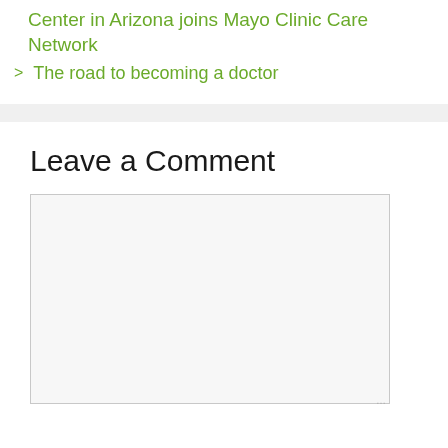Center in Arizona joins Mayo Clinic Care Network
The road to becoming a doctor
Leave a Comment